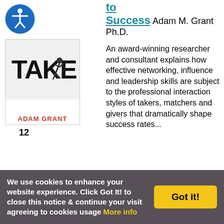[Figure (logo): Blue circular accessibility icon with white figure inside]
[Figure (illustration): Book cover for 'Give and Take' by Adam Grant - shows large text TAKE with a figure, and ADAM GRANT at bottom in red]
12
to Success
Adam M. Grant Ph.D.
An award-winning researcher and consultant explains how effective networking, influence and leadership skills are subject to the professional interaction styles of takers, matchers and givers that dramatically shape success rates...
We use cookies to enhance your website experience. Click Got It! to close this notice & continue your visit agreeing to cookies usage More info
Got it!